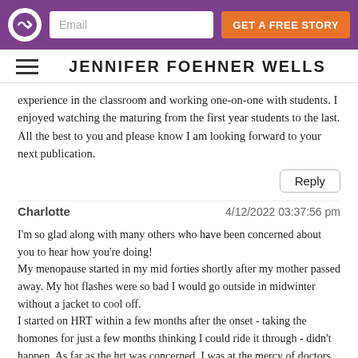Email | GET A FREE STORY | Jennifer Foehner Wells logo
JENNIFER FOEHNER WELLS
experience in the classroom and working one-on-one with students. I enjoyed watching the maturing from the first year students to the last. All the best to you and please know I am looking forward to your next publication.
Reply
Charlotte	4/12/2022 03:37:56 pm
I'm so glad along with many others who have been concerned about you to hear how you're doing!
My menopause started in my mid forties shortly after my mother passed away. My hot flashes were so bad I would go outside in midwinter without a jacket to cool off.
I started on HRT within a few months after the onset - taking the homones for just a few months thinking I could ride it through - didn't happen. As far as the hrt was concerned, I was at the mercy of doctors who didn't want me on it for more than a few months and insurance that